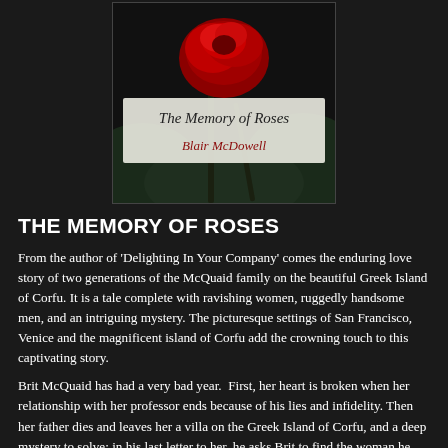[Figure (illustration): Book cover for 'The Memory of Roses' by Blair McDowell, showing a red rose against a dark background with the title in script lettering and author name in red cursive script on a semi-transparent white banner.]
THE MEMORY OF ROSES
From the author of ‘Delighting In Your Company’ comes the enduring love story of two generations of the McQuaid family on the beautiful Greek Island of Corfu. It is a tale complete with ravishing women, ruggedly handsome men, and an intriguing mystery. The picturesque settings of San Francisco, Venice and the magnificent island of Corfu add the crowning touch to this captivating story.
Brit McQuaid has had a very bad year.  First, her heart is broken when her relationship with her professor ends because of his lies and infidelity. Then her father dies and leaves her a villa on the Greek Island of Corfu, and a deep mystery to solve; in his last letter to her, he asks Brit to find the woman he profoundly loved